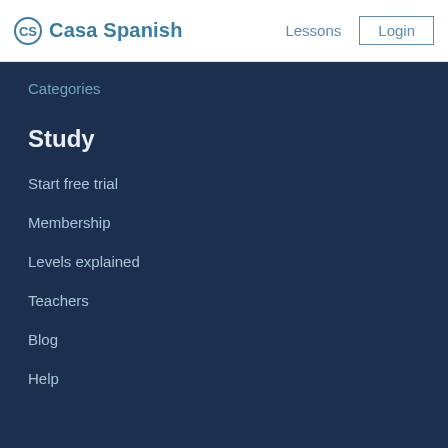Casa Spanish — Lessons | Login
Categories
Study
Start free trial
Membership
Levels explained
Teachers
Blog
Help